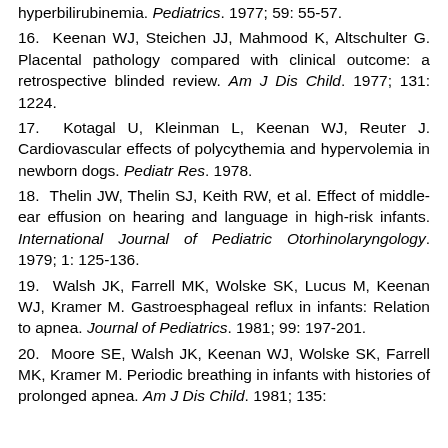hyperbilirubinemia. Pediatrics. 1977; 59: 55-57.
16. Keenan WJ, Steichen JJ, Mahmood K, Altschulter G. Placental pathology compared with clinical outcome: a retrospective blinded review. Am J Dis Child. 1977; 131: 1224.
17. Kotagal U, Kleinman L, Keenan WJ, Reuter J. Cardiovascular effects of polycythemia and hypervolemia in newborn dogs. Pediatr Res. 1978.
18. Thelin JW, Thelin SJ, Keith RW, et al. Effect of middle-ear effusion on hearing and language in high-risk infants. International Journal of Pediatric Otorhinolaryngology. 1979; 1: 125-136.
19. Walsh JK, Farrell MK, Wolske SK, Lucus M, Keenan WJ, Kramer M. Gastroesphageal reflux in infants: Relation to apnea. Journal of Pediatrics. 1981; 99: 197-201.
20. Moore SE, Walsh JK, Keenan WJ, Wolske SK, Farrell MK, Kramer M. Periodic breathing in infants with histories of prolonged apnea. Am J Dis Child. 1981; 135: